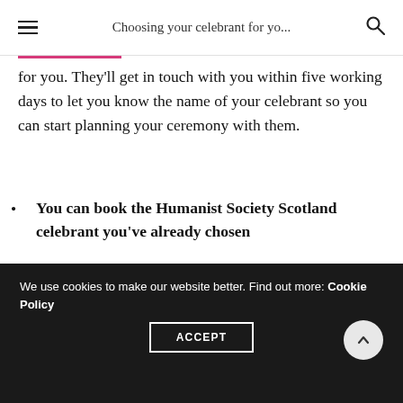Choosing your celebrant for yo...
for you. They'll get in touch with you within five working days to let you know the name of your celebrant so you can start planning your ceremony with them.
You can book the Humanist Society Scotland celebrant you've already chosen
If you've already been in contact with your preferred celebrant, and have agreed on a booking with them, you can secure your date with them here too.
We use cookies to make our website better. Find out more: Cookie Policy